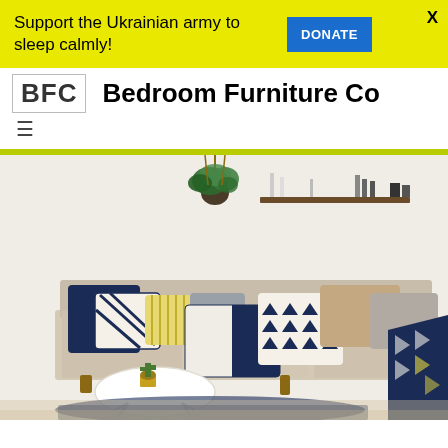Support the Ukrainian army to sleep calmly! DONATE X
BFC   Bedroom Furniture Co
[Figure (photo): Interior photo of a modern living room with a beige sofa covered in navy blue, white, and patterned decorative cushions, a hanging plant, wall shelves with candles and books, a small round white coffee table, and a navy rug on the floor.]